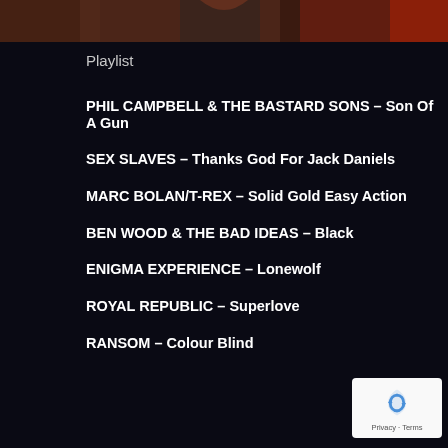[Figure (photo): Partial image at the top of the page, dark reddish-brown tones, appears to be a concert or band photo cropped at bottom]
Playlist
PHIL CAMPBELL & THE BASTARD SONS – Son Of A Gun
SEX SLAVES – Thanks God For Jack Daniels
MARC BOLAN/T-REX – Solid Gold Easy Action
BEN WOOD & THE BAD IDEAS – Black
ENIGMA EXPERIENCE – Lonewolf
ROYAL REPUBLIC – Superlove
RANSOM – Colour Blind